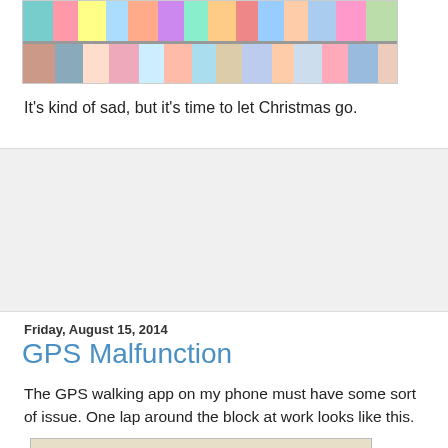[Figure (photo): Photo of Christmas fabric or quilting materials on shelves, partially cropped at top]
It's kind of sad, but it's time to let Christmas go.
Friday, August 15, 2014
GPS Malfunction
The GPS walking app on my phone must have some sort of issue. One lap around the block at work looks like this.
[Figure (photo): GPS map screenshot showing a red traced path around a city block, with street labels including Ave, 1st St, and partial street name on right side]